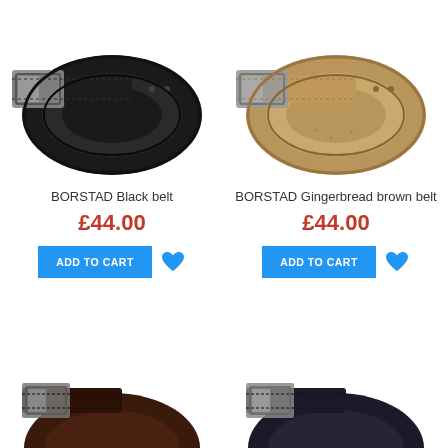[Figure (photo): BORSTAD Black belt coiled, top-left product image]
BORSTAD Black belt
£44.00
[Figure (photo): BORSTAD Gingerbread brown belt coiled, top-right product image]
BORSTAD Gingerbread brown belt
£44.00
[Figure (photo): Partial belt image bottom-left, dark brown/maroon]
[Figure (photo): Partial belt image bottom-right, dark navy/black]